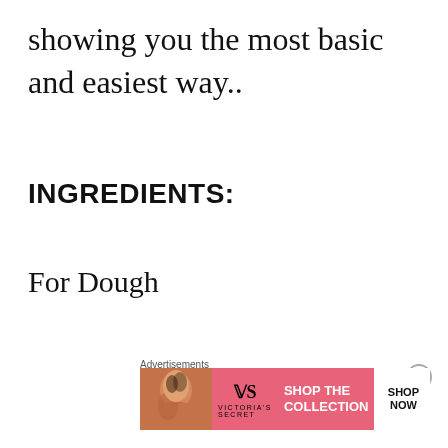showing you the most basic and easiest way..
INGREDIENTS:
For Dough
1/2 cup finely chopped Fresh
[Figure (other): Victoria's Secret advertisement banner with model photo, VS logo, 'SHOP THE COLLECTION' text, and 'SHOP NOW' button on pink background]